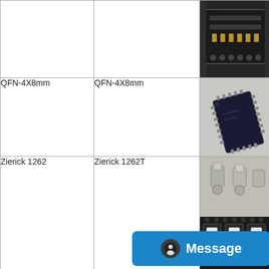| Part Number | Manufacturer Part | Image |
| --- | --- | --- |
|  |  | [connector photo] |
| QFN-4X8mm | QFN-4X8mm | [QFN chip photo] |
| Zierick 1262 | Zierick  1262T | [Zierick connector photo] |
| OEM 7343-43 Tantalum | AVX-Vishay, Case, K..., Case  12mm... | [tantalum photo] |
[Figure (photo): Dark electronic connector/socket component, top-down view showing gold contacts and slots]
[Figure (photo): QFN-4X8mm IC chip package, dark blue/black rectangular SMD component]
[Figure (photo): Zierick 1262T connector components — silver metal clips above, black connector housing with white contacts below in tape]
[Figure (photo): Tantalum capacitor, yellow/gold component partially visible]